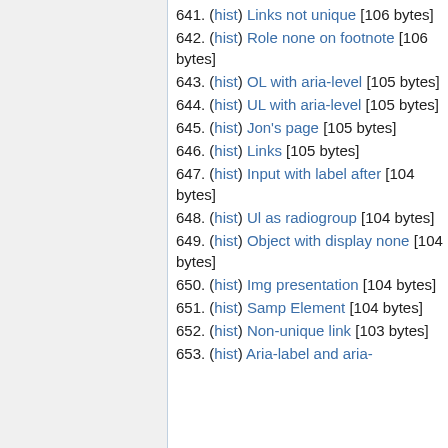641. (hist) Links not unique [106 bytes]
642. (hist) Role none on footnote [106 bytes]
643. (hist) OL with aria-level [105 bytes]
644. (hist) UL with aria-level [105 bytes]
645. (hist) Jon's page [105 bytes]
646. (hist) Links [105 bytes]
647. (hist) Input with label after [104 bytes]
648. (hist) Ul as radiogroup [104 bytes]
649. (hist) Object with display none [104 bytes]
650. (hist) Img presentation [104 bytes]
651. (hist) Samp Element [104 bytes]
652. (hist) Non-unique link [103 bytes]
653. (hist) Aria-label and aria-labelledby [103 bytes]